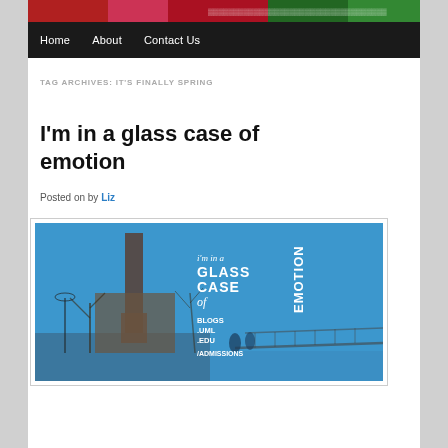[Figure (screenshot): Website banner with colorful campus/building photo strips]
Home   About   Contact Us
TAG ARCHIVES: IT'S FINALLY SPRING
I'm in a glass case of emotion
Posted on by Liz
[Figure (photo): Photo of a waterfront scene with a chimney/tower and bridge, overlaid with text reading "i'm in a GLASS CASE of EMOTION BLOGS.UML.EDU/ADMISSIONS"]